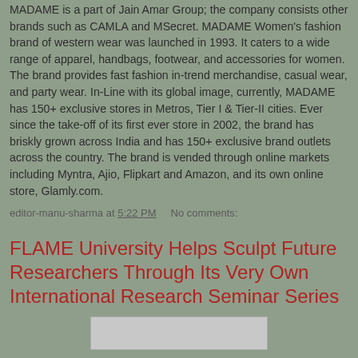MADAME is a part of Jain Amar Group; the company consists other brands such as CAMLA and MSecret. MADAME Women's fashion brand of western wear was launched in 1993. It caters to a wide range of apparel, handbags, footwear, and accessories for women. The brand provides fast fashion in-trend merchandise, casual wear, and party wear. In-Line with its global image, currently, MADAME has 150+ exclusive stores in Metros, Tier I & Tier-II cities. Ever since the take-off of its first ever store in 2002, the brand has briskly grown across India and has 150+ exclusive brand outlets across the country. The brand is vended through online markets including Myntra, Ajio, Flipkart and Amazon, and its own online store, Glamly.com.
editor-manu-sharma at 5:22 PM    No comments:
FLAME University Helps Sculpt Future Researchers Through Its Very Own International Research Seminar Series
[Figure (photo): Partial image visible at bottom of page]